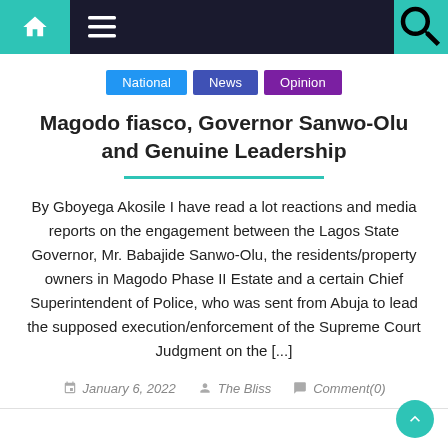Navigation bar with home, menu, and search icons
National  News  Opinion
Magodo fiasco, Governor Sanwo-Olu and Genuine Leadership
By Gboyega Akosile I have read a lot reactions and media reports on the engagement between the Lagos State Governor, Mr. Babajide Sanwo-Olu, the residents/property owners in Magodo Phase II Estate and a certain Chief Superintendent of Police, who was sent from Abuja to lead the supposed execution/enforcement of the Supreme Court Judgment on the [...]
January 6, 2022  The Bliss  Comment(0)